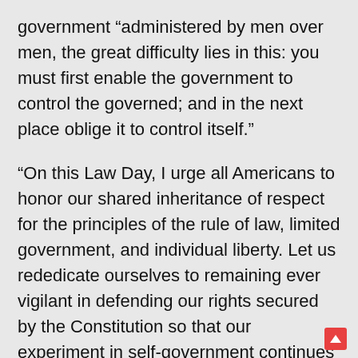government “administered by men over men, the great difficulty lies in this: you must first enable the government to control the governed; and in the next place oblige it to control itself.”
“On this Law Day, I urge all Americans to honor our shared inheritance of respect for the principles of the rule of law, limited government, and individual liberty. Let us rededicate ourselves to remaining ever vigilant in defending our rights secured by the Constitution so that our experiment in self-government continues in perpetuity.”
“In all of these efforts, we aim to ensure that the Government can continue to perform its fundamental responsibility to the American people,